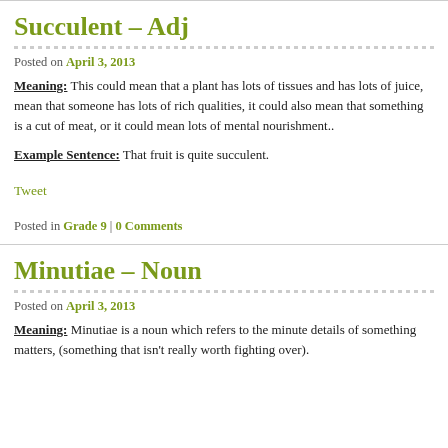Succulent – Adj
Posted on April 3, 2013
Meaning: This could mean that a plant has lots of tissues and has lots of juice, mean that someone has lots of rich qualities, it could also mean that something is a cut of meat, or it could mean lots of mental nourishment..
Example Sentence: That fruit is quite succulent.
Tweet
Posted in Grade 9 | 0 Comments
Minutiae – Noun
Posted on April 3, 2013
Meaning: Minutiae is a noun which refers to the minute details of something matters, (something that isn't really worth fighting over).